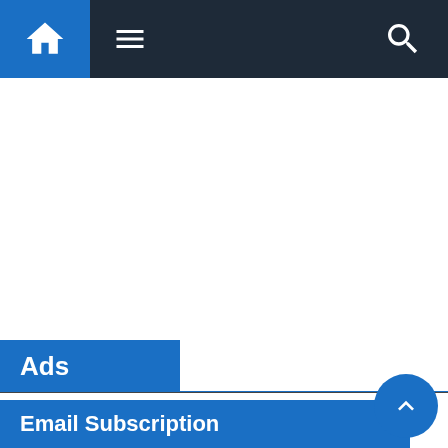[Figure (screenshot): Website navigation bar with home icon (blue box), hamburger menu icon, and search icon on dark background]
Ads
Email Subscription